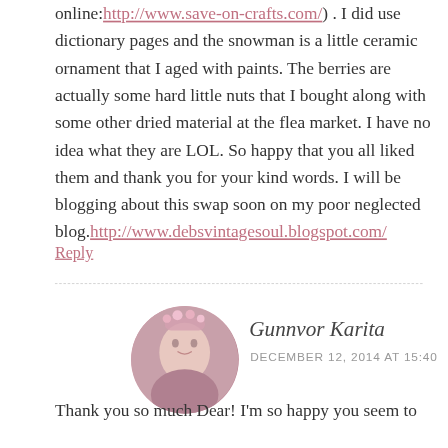online:http://www.save-on-crafts.com/) . I did use dictionary pages and the snowman is a little ceramic ornament that I aged with paints. The berries are actually some hard little nuts that I bought along with some other dried material at the flea market. I have no idea what they are LOL. So happy that you all liked them and thank you for your kind words. I will be blogging about this swap soon on my poor neglected blog.http://www.debsvintagesoul.blogspot.com/
Reply
Gunnvor Karita
DECEMBER 12, 2014 AT 15:40
Thank you so much Dear! I'm so happy you seem to